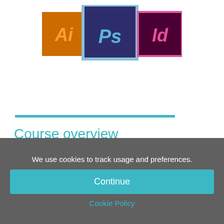[Figure (logo): Adobe Illustrator (Ai), Photoshop (Ps), and InDesign (Id) application logos displayed side by side with overlapping arrangement]
Course overview
This 1 day session is designed to expain and demonstrate the fundamental differences between Adobe PhotoShop, Illustrator and InDesign, and how the three applications are designed to work together as one.  The attendee will then gain the knowledge to decide upon which application(s) they can then right to proceed
We use cookies to track usage and preferences.
Continue
Cookie Policy